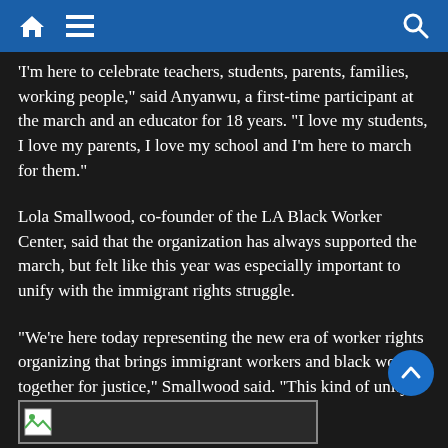[Navigation bar with home, menu, and search icons]
'I'm here to celebrate teachers, students, parents, families, working people,” said Anyanwu, a first-time participant at the march and an educator for 18 years. “I love my students, I love my parents, I love my school and I’m here to march for them.”
Lola Smallwood, co-founder of the LA Black Worker Center, said that the organization has always supported the march, but felt like this year was especially important to unify with the immigrant rights struggle.
“We’re here today representing the new era of worker rights organizing that brings immigrant workers and black workers together for justice,” Smallwood said. “This kind of unity is really important.
[Figure (other): Broken image placeholder at the bottom of the page]